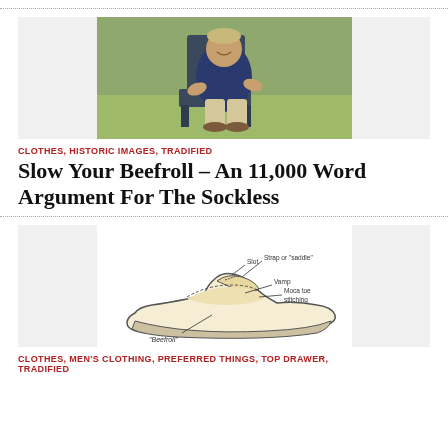[Figure (photo): A man sitting in an outdoor wooden chair, smiling, wearing a navy polo shirt and khaki pants, outdoors on grass.]
CLOTHES, HISTORIC IMAGES, TRADIFIED
Slow Your Beefroll – An 11,000 Word Argument For The Sockless
[Figure (illustration): Labeled diagram of a loafer shoe showing parts: Slot, Strap or 'saddle', Vamp, Moca toe stitching, and 'Beefroll']
CLOTHES, MEN'S CLOTHING, PREFERRED THINGS, TOP DRAWER, TRADIFIED